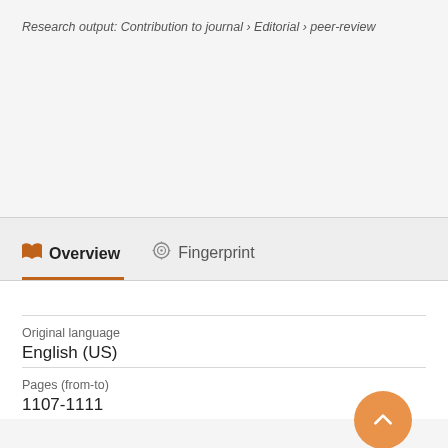Research output: Contribution to journal › Editorial › peer-review
Overview   Fingerprint
Original language
English (US)
Pages (from-to)
1107-1111